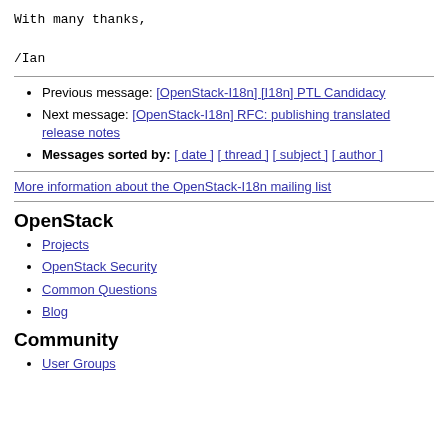With many thanks,

/Ian
Previous message: [OpenStack-I18n] [I18n] PTL Candidacy
Next message: [OpenStack-I18n] RFC: publishing translated release notes
Messages sorted by: [ date ] [ thread ] [ subject ] [ author ]
More information about the OpenStack-I18n mailing list
OpenStack
Projects
OpenStack Security
Common Questions
Blog
Community
User Groups